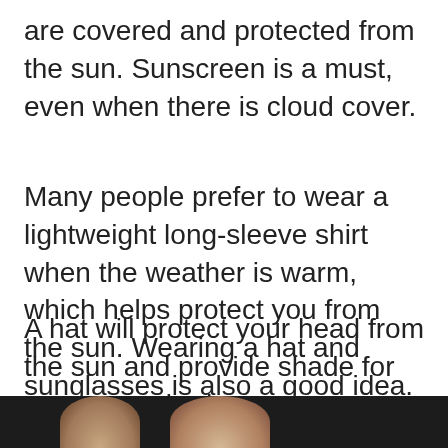are covered and protected from the sun. Sunscreen is a must, even when there is cloud cover.
Many people prefer to wear a lightweight long-sleeve shirt when the weather is warm, which helps protect you from the sun. Wearing a hat and sunglasses is also a good idea.
A hat will protect your head from the sun and provide shade for your upper body.
[Figure (photo): Partial photo at bottom of page showing people, cropped — only the top portion of heads visible]